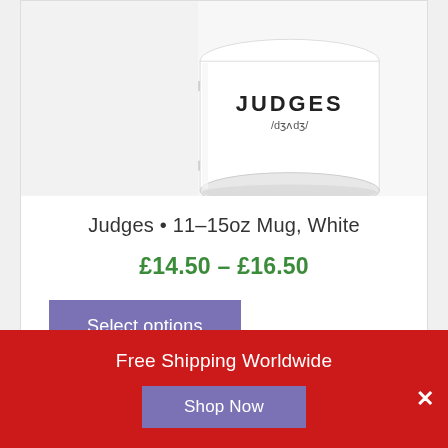[Figure (photo): White ceramic mug with 'JUDGES /dʒʌdʒ/' printed on it, shown on a white background. Top portion of the mug is visible.]
Judges • 11–15oz Mug, White
£14.50 – £16.50
Select options
Free Shipping Worldwide
Shop Now